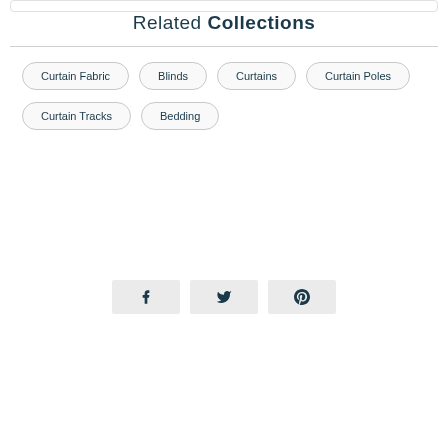Related Collections
Curtain Fabric
Blinds
Curtains
Curtain Poles
Curtain Tracks
Bedding
[Figure (infographic): Social sharing buttons: Facebook (f), Twitter (bird icon), Pinterest (P)]